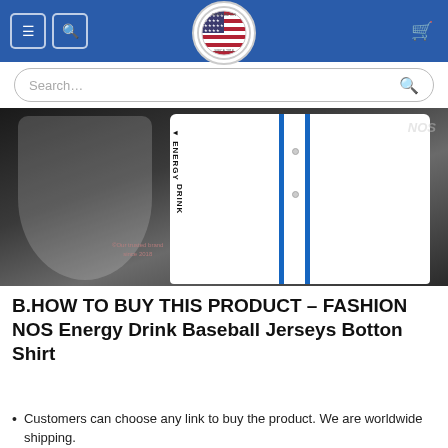Navigation header with menu, search, logo, and cart icons
Search...
[Figure (photo): NOS Energy Drink Baseball Jersey displayed on a dark wood background. White jersey with blue vertical stripes and 'ENERGY DRINK' text. A watermark reads 'Our trusted brand since 2018'.]
B.HOW TO BUY THIS PRODUCT – FASHION NOS Energy Drink Baseball Jerseys Botton Shirt
Customers can choose any link to buy the product. We are worldwide shipping.